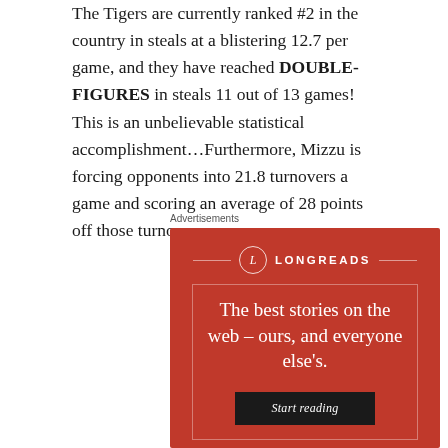The Tigers are currently ranked #2 in the country in steals at a blistering 12.7 per game, and they have reached DOUBLE-FIGURES in steals 11 out of 13 games!  This is an unbelievable statistical accomplishment…Furthermore, Mizzu is forcing opponents into 21.8 turnovers a game and scoring an average of 28 points off those turnovers.
Advertisements
[Figure (infographic): Longreads advertisement banner with red background. Shows the Longreads logo (circle with L) and tagline 'The best stories on the web – ours, and everyone else's.' with a 'Start reading' button.]